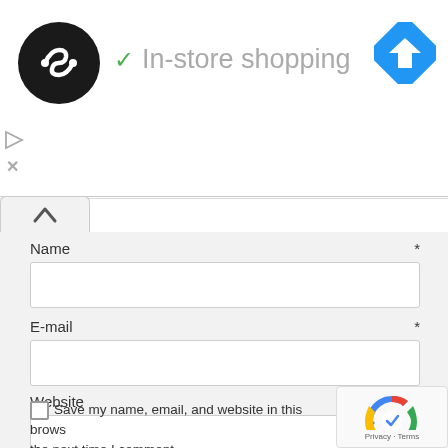[Figure (logo): Black circle logo with double arrow symbol (Imgur or similar)]
In-store shopping
[Figure (other): Blue diamond navigation/directions icon]
[Figure (other): Small play and close (X) ad control icons]
[Figure (other): Collapse/up-arrow tab button]
Name *
E-mail *
Website
Save my name, email, and website in this browser for the next time I comment.
[Figure (other): reCAPTCHA badge with Privacy and Terms text]